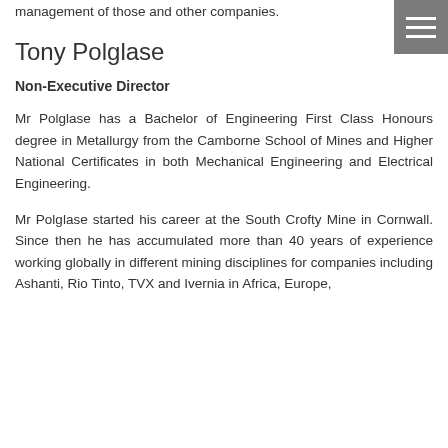management of those and other companies.
[Figure (other): Hamburger menu icon button with three horizontal white lines on grey background]
Tony Polglase
Non-Executive Director
Mr Polglase has a Bachelor of Engineering First Class Honours degree in Metallurgy from the Camborne School of Mines and Higher National Certificates in both Mechanical Engineering and Electrical Engineering.
Mr Polglase started his career at the South Crofty Mine in Cornwall. Since then he has accumulated more than 40 years of experience working globally in different mining disciplines for companies including Ashanti, Rio Tinto, TVX and Ivernia in Africa, Europe,